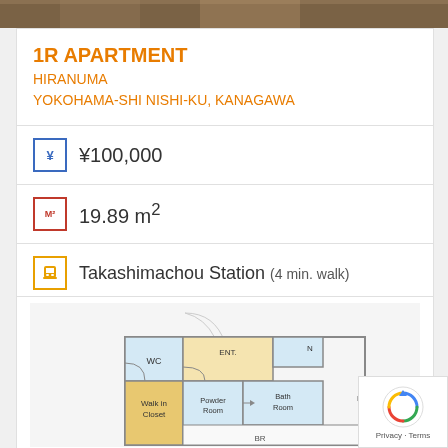[Figure (photo): Top strip showing exterior photo of apartment building]
1R APARTMENT
HIRANUMA
YOKOHAMA-SHI NISHI-KU, KANAGAWA
¥100,000
19.89 m²
Takashimachou Station (4 min. walk)
Shortlist
[Figure (engineering-diagram): Apartment floor plan showing walk-in closet, WC, Powder Room, Bath Room, and entrance layout]